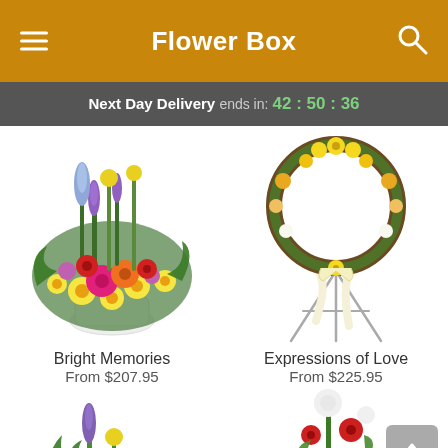Flower Box
Next Day Delivery ends in: 42 : 50 : 36
[Figure (photo): Colorful flower arrangement in white pot with yellow, pink, purple, and orange flowers — Bright Memories]
Bright Memories
From $207.95
[Figure (photo): Floral wreath on an easel stand with yellow and white flowers — Expressions of Love]
Expressions of Love
From $225.95
[Figure (photo): Partial view of a flower arrangement at bottom left]
[Figure (photo): Partial view of a white and red flower arrangement at bottom right]